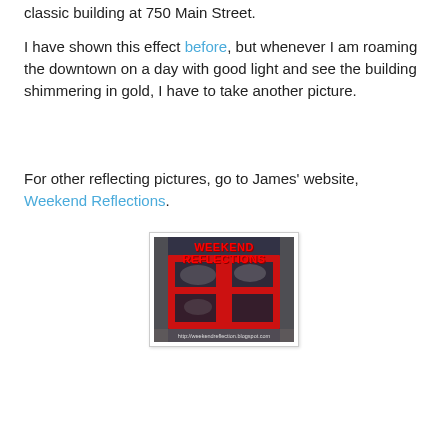classic building at 750 Main Street.
I have shown this effect before, but whenever I am roaming the downtown on a day with good light and see the building shimmering in gold, I have to take another picture.
For other reflecting pictures, go to James' website, Weekend Reflections.
[Figure (photo): Weekend Reflections banner/logo image showing a window with a red frame reflecting cloudy sky, with text 'WEEKEND REFLECTIONS' at top and 'http://weekendreflection.blogspot.com' at the bottom.]